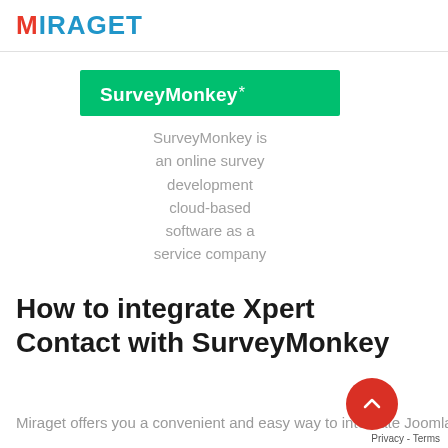MIRAGET
[Figure (logo): SurveyMonkey logo — white text on green background]
SurveyMonkey is an online survey development cloud-based software as a service company
How to integrate Xpert Contact with SurveyMonkey
Miraget offers you a convenient and easy way to integrate Joomla and SurveyMonkey together.